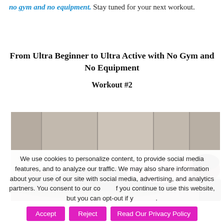no gym and no equipment. Stay tuned for your next workout.
From Ultra Beginner to Ultra Active with No Gym and No Equipment

Workout #2
[Figure (photo): A woman in a pink top and black leggings performing a push-up or plank position on the floor, viewed from the side in what appears to be a bathroom or tiled room.]
We use cookies to personalize content, to provide social media features, and to analyze our traffic. We may also share information about your use of our site with social media, advertising, and analytics partners. You consent to our cookies if you continue to use this website, but you can opt-out if you wish.